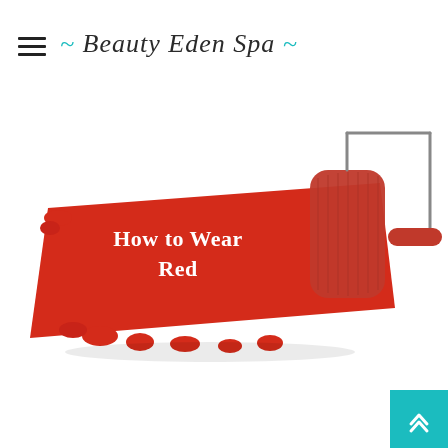~ Beauty Eden Spa ~
[Figure (illustration): A red paint roller rolling a wide red paint swatch on a white background. The red swatch has white text reading 'How to Wear Red' in a serif font.]